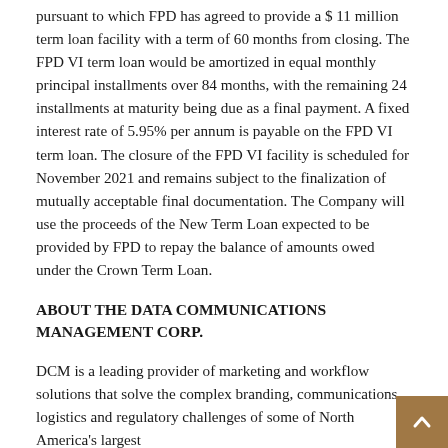pursuant to which FPD has agreed to provide a $ 11 million term loan facility with a term of 60 months from closing. The FPD VI term loan would be amortized in equal monthly principal installments over 84 months, with the remaining 24 installments at maturity being due as a final payment. A fixed interest rate of 5.95% per annum is payable on the FPD VI term loan. The closure of the FPD VI facility is scheduled for November 2021 and remains subject to the finalization of mutually acceptable final documentation. The Company will use the proceeds of the New Term Loan expected to be provided by FPD to repay the balance of amounts owed under the Crown Term Loan.
ABOUT THE DATA COMMUNICATIONS MANAGEMENT CORP.
DCM is a leading provider of marketing and workflow solutions that solve the complex branding, communications, logistics and regulatory challenges of some of North America's largest